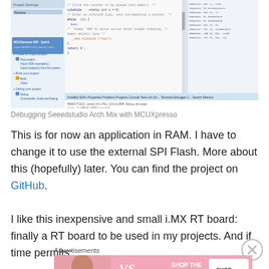[Figure (screenshot): MCUXpresso IDE debugger screenshot showing code editor with C code, disassembly view, GDB console output, and debug control panel for Seeedstudio Arch Mix project]
Debugging Seeedstudio Arch Mix with MCUXpresso
This is for now an application in RAM. I have to change it to use the external SPI Flash. More about this (hopefully) later. You can find the project on GitHub.
I like this inexpensive and small i.MX RT board: finally a RT board to be used in my projects. And if time permits:
Advertisements
[Figure (photo): Victoria's Secret advertisement banner with woman and text 'SHOP THE COLLECTION' and 'SHOP NOW']